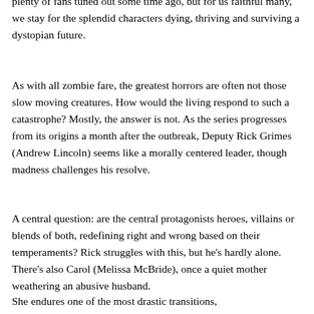plenty of fans tuned out some time ago, but for us faithful many, we stay for the splendid characters dying, thriving and surviving a dystopian future.
As with all zombie fare, the greatest horrors are often not those slow moving creatures. How would the living respond to such a catastrophe? Mostly, the answer is not. As the series progresses from its origins a month after the outbreak, Deputy Rick Grimes (Andrew Lincoln) seems like a morally centered leader, though madness challenges his resolve.
A central question: are the central protagonists heroes, villains or blends of both, redefining right and wrong based on their temperaments? Rick struggles with this, but he’s hardly alone. There’s also Carol (Melissa McBride), once a quiet mother weathering an abusive husband.
She endures one of the most drastic transitions,